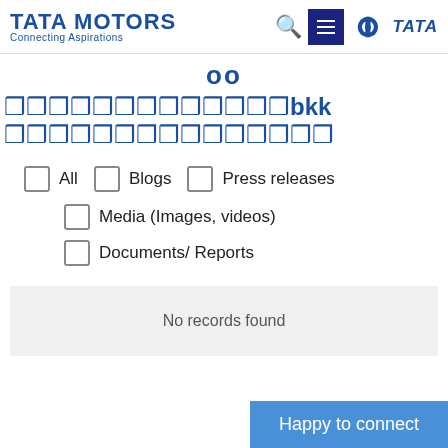[Figure (logo): Tata Motors logo with 'Connecting Aspirations' tagline and Tata group logo on the right, with search and hamburger menu icons]
oo
????????????????bkk
?????????????????
All
Blogs
Press releases
Media (Images, videos)
Documents/ Reports
No records found
Happy to connect